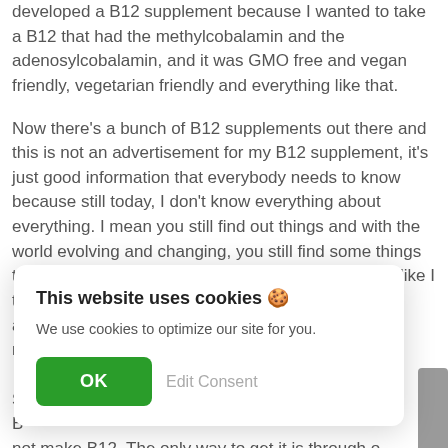developed a B12 supplement because I wanted to take a B12 that had the methylcobalamin and the adenosylcobalamin, and it was GMO free and vegan friendly, vegetarian friendly and everything like that.
Now there's a bunch of B12 supplements out there and this is not an advertisement for my B12 supplement, it's just good information that everybody needs to know because still today, I don't know everything about everything. I mean you still find out things and with the world evolving and changing, you still find some things that you're not going to get through the food supply like I tal... a... n...
S... B... not make B12. The only way to get it is through o...
[Figure (screenshot): Cookie consent banner overlay with title 'This website uses cookies 🍪', description 'We use cookies to optimize our site for you.', a green OK button, and a gray Edit Consent button.]